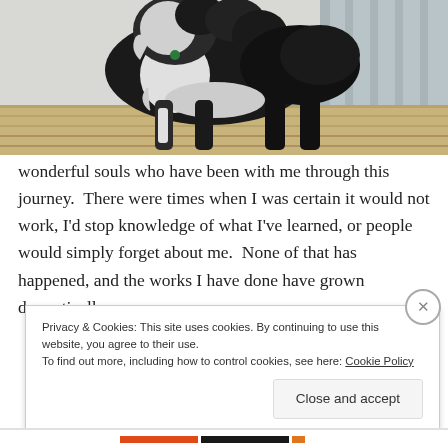[Figure (photo): Photo of a large fluffy black and white dog (appears to be an Old English Sheepdog or Bearded Collie) standing on a wooden deck, photographed from the side showing its full body and legs.]
wonderful souls who have been with me through this journey.  There were times when I was certain it would not work, I'd stop knowledge of what I've learned, or people would simply forget about me.  None of that has happened, and the works I have done have grown dramatically.
Privacy & Cookies: This site uses cookies. By continuing to use this website, you agree to their use.
To find out more, including how to control cookies, see here: Cookie Policy